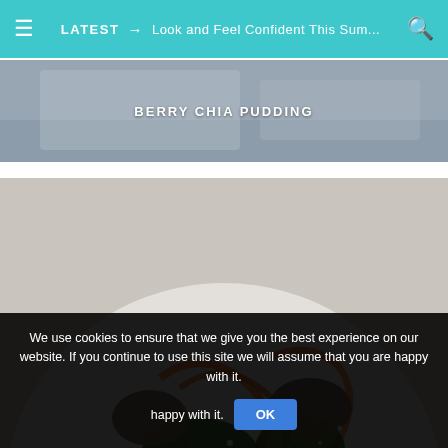≡  LATEST → Look and Feel Confident This Sum...  🔍
BERRY CHIA PUDDING
[Figure (photo): Bowl of garlicky sauteed mushrooms and kale with courgetti and a mustard tahini sauce, viewed from above on a white bowl on a light surface]
GARLICKY SAUTEED MUSHROOMS AND KALE WITH GOURGETTI AND A MUSTARD TAHINI SAUCE
We use cookies to ensure that we give you the best experience on our website. If you continue to use this site we will assume that you are happy with it.  OK